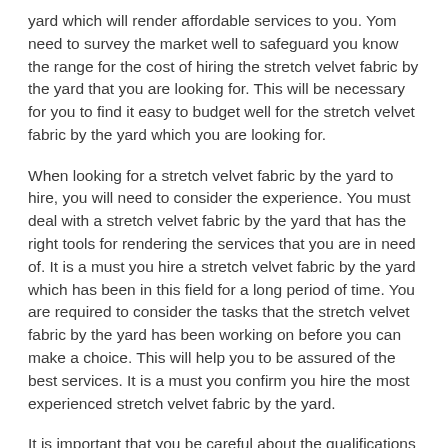yard which will render affordable services to you. Yom need to survey the market well to safeguard you know the range for the cost of hiring the stretch velvet fabric by the yard that you are looking for. This will be necessary for you to find it easy to budget well for the stretch velvet fabric by the yard which you are looking for.
When looking for a stretch velvet fabric by the yard to hire, you will need to consider the experience. You must deal with a stretch velvet fabric by the yard that has the right tools for rendering the services that you are in need of. It is a must you hire a stretch velvet fabric by the yard which has been in this field for a long period of time. You are required to consider the tasks that the stretch velvet fabric by the yard has been working on before you can make a choice. This will help you to be assured of the best services. It is a must you confirm you hire the most experienced stretch velvet fabric by the yard.
It is important that you be careful about the qualifications that the stretch velvet fabric by the yard has. You must ensure you find a qualified stretch velvet fabric by the yard for the tasks that you are in need of.